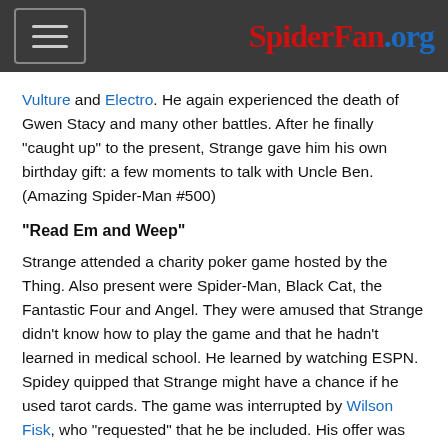SpiderFan.org
Vulture and Electro. He again experienced the death of Gwen Stacy and many other battles. After he finally "caught up" to the present, Strange gave him his own birthday gift: a few moments to talk with Uncle Ben. (Amazing Spider-Man #500)
"Read Em and Weep"
Strange attended a charity poker game hosted by the Thing. Also present were Spider-Man, Black Cat, the Fantastic Four and Angel. They were amused that Strange didn’t know how to play the game and that he hadn’t learned in medical school. He learned by watching ESPN. Spidey quipped that Strange might have a chance if he used tarot cards. The game was interrupted by Wilson Fisk, who “requested” that he be included. His offer was that if he lost the game, he’d double the winning prize to the charity. If he won, he’d use the money to buy a yacht